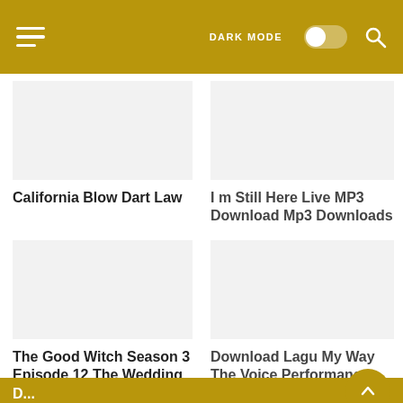[Figure (screenshot): Mobile website header with hamburger menu, DARK MODE toggle, and search icon on a gold/olive background]
California Blow Dart Law
I m Still Here Live MP3 Download Mp3 Downloads
The Good Witch Season 3 Episode 12 The Wedding Poem
Download Lagu My Way The Voice Performance Billy Gilman Mp3
D...